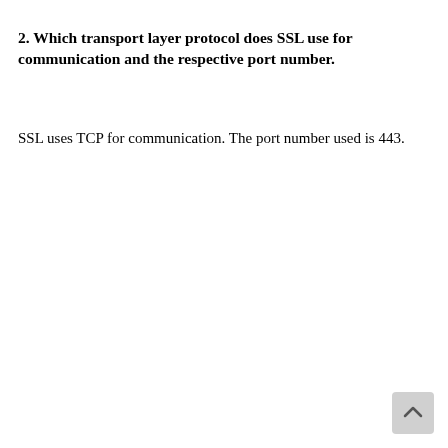2. Which transport layer protocol does SSL use for communication and the respective port number.
SSL uses TCP for communication. The port number used is 443.